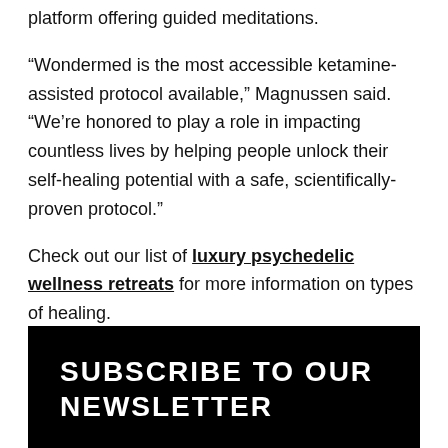platform offering guided meditations.
“Wondermed is the most accessible ketamine-assisted protocol available,” Magnussen said. “We’re honored to play a role in impacting countless lives by helping people unlock their self-healing potential with a safe, scientifically-proven protocol.”
Check out our list of luxury psychedelic wellness retreats for more information on types of healing.
SUBSCRIBE TO OUR NEWSLETTER